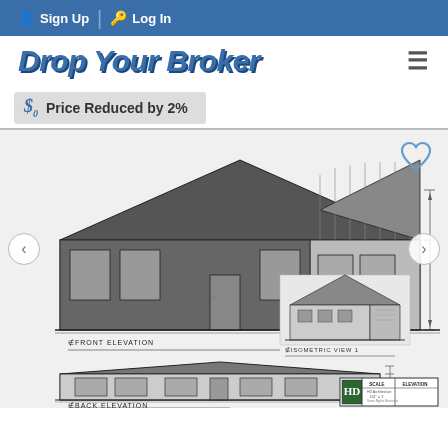Sign Up  Log In
Drop Your Broker
Price Reduced by 2%
[Figure (engineering-diagram): Architectural blueprint/elevation drawings of a house showing Front Elevation, Isometric View 1, and Back Elevation technical drawings in black and white.]